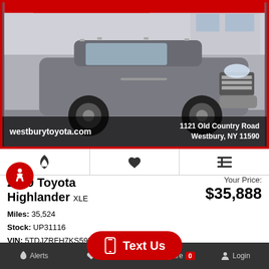[Figure (photo): Gray Toyota Highlander SUV parked in front of a Toyota dealership. The car is facing front-right. Dealer overlay shows westburytoyota.com and 1121 Old Country Road, Westbury, NY 11590.]
westburytoyota.com
1121 Old Country Road
Westbury, NY 11590
2019 Toyota Highlander XLE
Your Price:
$35,888
Miles: 35,524
Stock: UP31116
VIN: 5TDJZRFH7KS59532
Text Us
Alerts   Save   Compare 0   Login